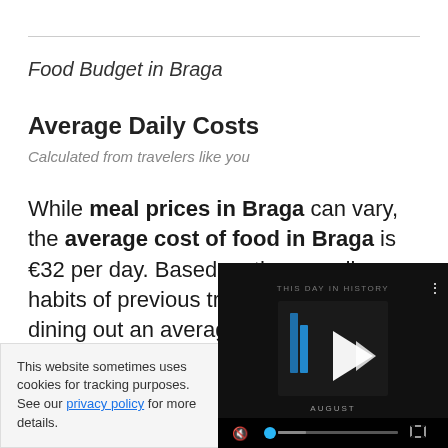Food Budget in Braga
Average Daily Costs
Calculated from travelers like you
While meal prices in Braga can vary, the average cost of food in Braga is €32 per day. Based on the spending habits of previous travelers, when dining out an average meal in B... cost around €13 p...
This website sometimes uses cookies for tracking purposes. See our privacy policy for more details.
[Figure (screenshot): Video player overlay showing 'THIS DAY IN HISTORY' with a play button icon, progress bar, mute and fullscreen controls on a dark background. Text 'AUGUST' visible.]